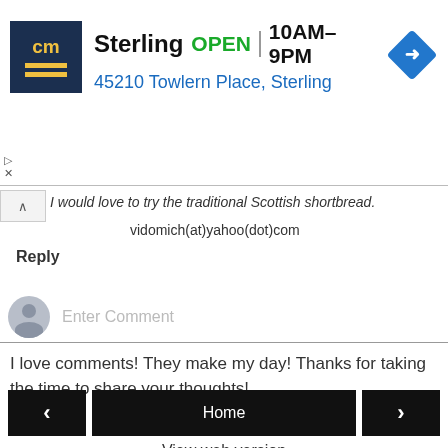[Figure (screenshot): Advertisement banner for CarMax Sterling store. Shows CarMax logo (dark blue box with yellow 'cm' text), store name 'Sterling', green 'OPEN' text, hours '10AM–9PM', address '45210 Towlern Place, Sterling', and a blue diamond navigation arrow icon.]
I would love to try the traditional Scottish shortbread. vidomich(at)yahoo(dot)com
Reply
[Figure (screenshot): Comment input field with gray user avatar icon on the left and placeholder text 'Enter Comment']
I love comments! They make my day! Thanks for taking the time to share your thoughts!
[Figure (screenshot): Navigation buttons row: left arrow button, Home button in center, right arrow button]
View web version
Blog Design by Rhonda Jai Designs